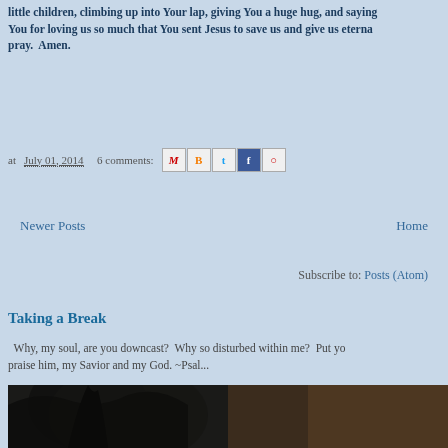little children, climbing up into Your lap, giving You a huge hug, and saying Thank You for loving us so much that You sent Jesus to save us and give us eterna... pray.  Amen.
at July 01, 2014   6 comments:
Newer Posts
Home
Subscribe to: Posts (Atom)
Taking a Break
Why, my soul, are you downcast?  Why so disturbed within me?  Put yo... praise him, my Savior and my God. ~Psal...
[Figure (photo): Dark photograph showing tree branches against a brownish sky background]